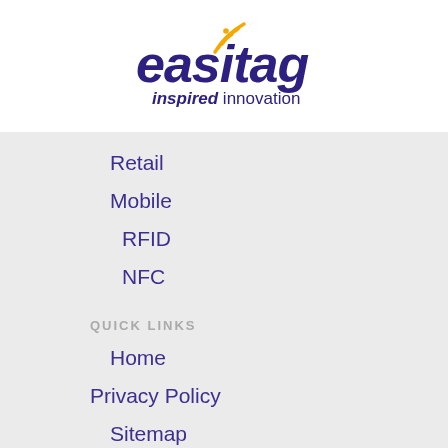[Figure (logo): Easitag logo with wireless signal icon and tagline 'inspired innovation']
Retail
Mobile
RFID
NFC
QUICK LINKS
Home
Privacy Policy
Sitemap
Contact us